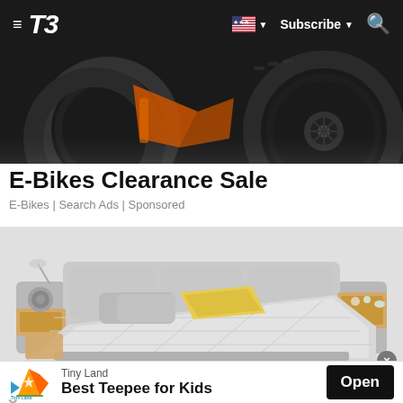≡ T3  Subscribe ▼ 🔍
[Figure (photo): Close-up of orange and black fat-tire electric bike wheels and frame detail]
E-Bikes Clearance Sale
E-Bikes | Search Ads | Sponsored
[Figure (photo): Gray upholstered smart bed with built-in speakers, shelves, reading lamp, and yellow accent pillow with checkered bedding]
[Figure (photo): Tiny Land advertisement banner: Best Teepee for Kids with Open button]